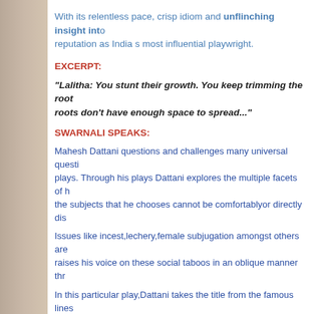With its relentless pace, crisp idiom and unflinching insight into reputation as India s most influential playwright.
EXCERPT:
"Lalitha: You stunt their growth. You keep trimming the root roots don't have enough space to spread..."
SWARNALI SPEAKS:
Mahesh Dattani questions and challenges many universal questi plays. Through his plays Dattani explores the multiple facets of h the subjects that he chooses cannot be comfortablyor directly dis
Issues like incest,lechery,female subjugation amongst others are raises his voice on these social taboos in an oblique manner thr
In this particular play,Dattani takes the title from the famous lines are sure to have heard in childhood-
"Khub ladi mardani woh toh Jhansi wali Rani thi"